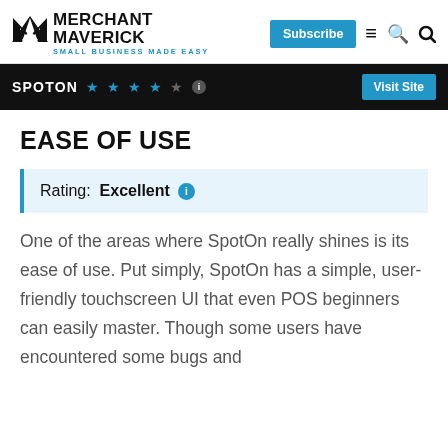[Figure (logo): Merchant Maverick logo with M checkmark icon and tagline SMALL BUSINESS MADE EASY]
Subscribe
SPOTON ★★★★☆ ℹ  Visit Site
EASE OF USE
Rating: Excellent ℹ
One of the areas where SpotOn really shines is its ease of use. Put simply, SpotOn has a simple, user-friendly touchscreen UI that even POS beginners can easily master. Though some users have encountered some bugs and